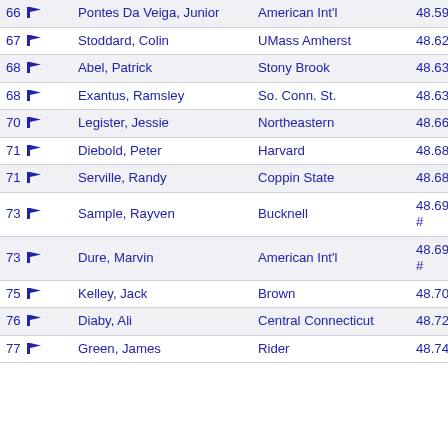| Rank | Name | School | Time |
| --- | --- | --- | --- |
| 66 | Pontes Da Veiga, Junior | American Int'l | 48.59 |
| 67 | Stoddard, Colin | UMass Amherst | 48.62 |
| 68 | Abel, Patrick | Stony Brook | 48.63 |
| 68 | Exantus, Ramsley | So. Conn. St. | 48.63 |
| 70 | Legister, Jessie | Northeastern | 48.66 |
| 71 | Diebold, Peter | Harvard | 48.68 |
| 71 | Serville, Randy | Coppin State | 48.68 |
| 73 | Sample, Rayven | Bucknell | 48.69 # |
| 73 | Dure, Marvin | American Int'l | 48.69 # |
| 75 | Kelley, Jack | Brown | 48.70 |
| 76 | Diaby, Ali | Central Connecticut | 48.72 |
| 77 | Green, James | Rider | 48.74 |